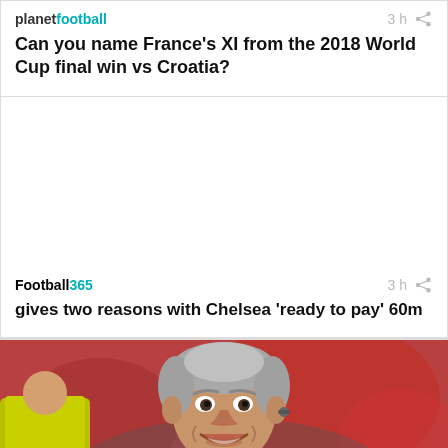planet football
3 h
Can you name France's XI from the 2018 World Cup final win vs Croatia?
Football365
3 h
gives two reasons with Chelsea 'ready to pay' 60m
[Figure (photo): A smiling middle-aged man with grey hair wearing an earpiece, photographed outdoors at a sports venue with blurred red background and a person in a yellow jacket visible on the left.]